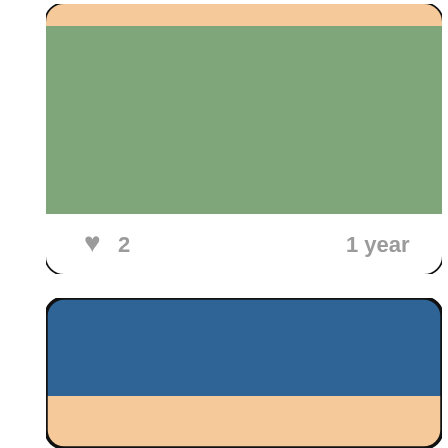[Figure (illustration): Color palette card 1: top strip is peach/salmon, large middle section is sage green, bottom white section with gray heart icon, number 2, and '1 year' text]
[Figure (illustration): Color palette card 2 (partially visible): large section of steel blue at top, bottom section is peach/salmon]